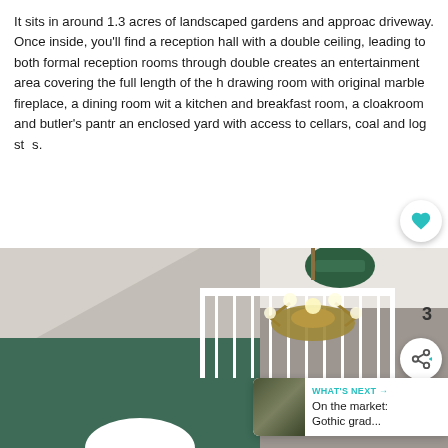It sits in around 1.3 acres of landscaped gardens and approached driveway. Once inside, you'll find a reception hall with a double ceiling, leading to both formal reception rooms through double creates an entertainment area covering the full length of the h drawing room with original marble fireplace, a dining room with a kitchen and breakfast room, a cloakroom and butler's pantry an enclosed yard with access to cellars, coal and log sts.
[Figure (photo): Interior staircase area with dark green painted walls on the lower half and light grey/beige on upper. White balustrade/railing visible. A brass/gold chandelier with multiple candle-style bulbs hangs prominently. Green potted plant visible above the railing. UI overlay elements: heart/favorite button, share button with count '3', and 'What's Next' banner showing 'On the market: Gothic grad...']